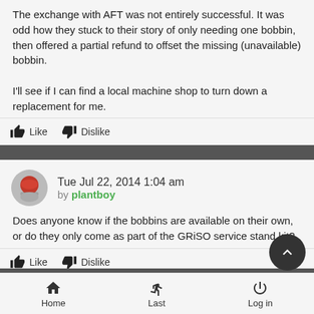The exchange with AFT was not entirely successful. It was odd how they stuck to their story of only needing one bobbin, then offered a partial refund to offset the missing (unavailable) bobbin.

I'll see if I can find a local machine shop to turn down a replacement for me.
Like  Dislike
Tue Jul 22, 2014 1:04 am
by plantboy
Does anyone know if the bobbins are available on their own, or do they only come as part of the GRiSO service stand kit?
Like  Dislike
Home  Last  Log in